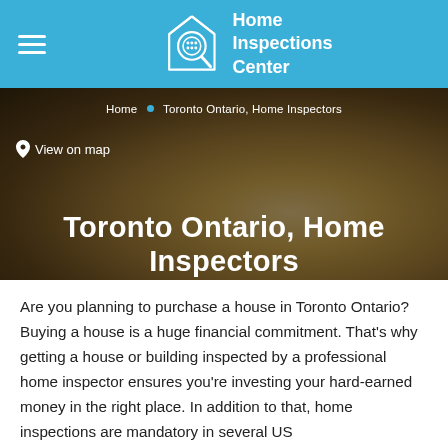Home Inspections Center
Home · Toronto Ontario, Home Inspectors
View on map
Toronto Ontario, Home Inspectors
Are you planning to purchase a house in Toronto Ontario? Buying a house is a huge financial commitment. That's why getting a house or building inspected by a professional home inspector ensures you're investing your hard-earned money in the right place. In addition to that, home inspections are mandatory in several US